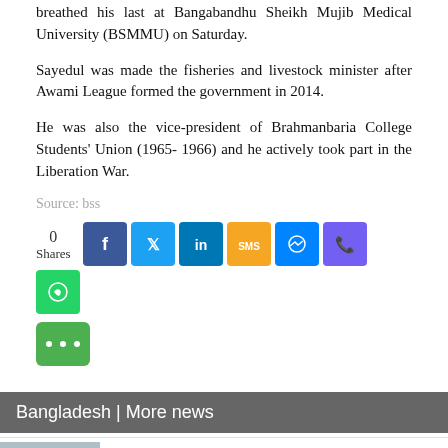breathed his last at Bangabandhu Sheikh Mujib Medical University (BSMMU) on Saturday.
Sayedul was made the fisheries and livestock minister after Awami League formed the government in 2014.
He was also the vice-president of Brahmanbaria College Students' Union (1965- 1966) and he actively took part in the Liberation War.
Source: bss
[Figure (infographic): Social share buttons showing 0 Shares, with buttons for Facebook, Twitter, LinkedIn, SMS, Messenger, Viber, WhatsApp, and more (green button with ...)]
Bangladesh | More news
Nepal-Bangladesh meet on water resources ...